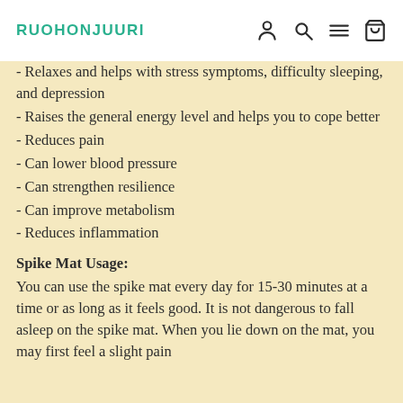RUOHONJUURI
- Relaxes and helps with stress symptoms, difficulty sleeping, and depression
- Raises the general energy level and helps you to cope better
- Reduces pain
- Can lower blood pressure
- Can strengthen resilience
- Can improve metabolism
- Reduces inflammation
Spike Mat Usage:
You can use the spike mat every day for 15-30 minutes at a time or as long as it feels good. It is not dangerous to fall asleep on the spike mat. When you lie down on the mat, you may first feel a slight pain